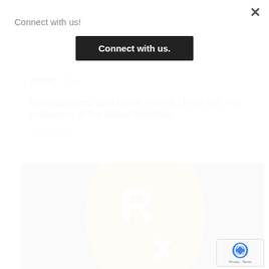Connect with us!
Connect with us.
BOOK: 1 Peter
Brian Dainsberg, Lead Pastor, looks at 1 Peter and: Five Implications of This Biblical Worldview read more...
[Figure (photo): Orange oval Rx (prescription) symbol on dark gray textured background]
[Figure (logo): Google reCAPTCHA badge with Privacy and Terms links]